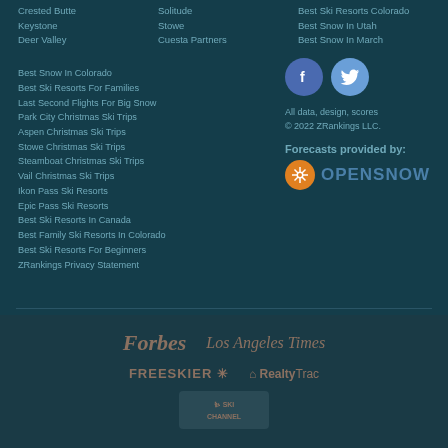Crested Butte
Keystone
Deer Valley
Solitude
Stowe
Cuesta Partners
Best Ski Resorts Colorado
Best Snow In Utah
Best Snow In March
Best Snow In Colorado
Best Ski Resorts For Families
Last Second Flights For Big Snow
Park City Christmas Ski Trips
Aspen Christmas Ski Trips
Stowe Christmas Ski Trips
Steamboat Christmas Ski Trips
Vail Christmas Ski Trips
Ikon Pass Ski Resorts
Epic Pass Ski Resorts
Best Ski Resorts In Canada
Best Family Ski Resorts In Colorado
Best Ski Resorts For Beginners
ZRankings Privacy Statement
[Figure (logo): Facebook and Twitter social media icons]
All data, design, scores © 2022 ZRankings LLC.
Forecasts provided by:
[Figure (logo): OpenSnow logo with orange snowflake badge]
[Figure (logo): Forbes logo]
[Figure (logo): Los Angeles Times logo]
[Figure (logo): Freeskier logo]
[Figure (logo): RealtyTrac logo]
[Figure (logo): Ski Channel logo]